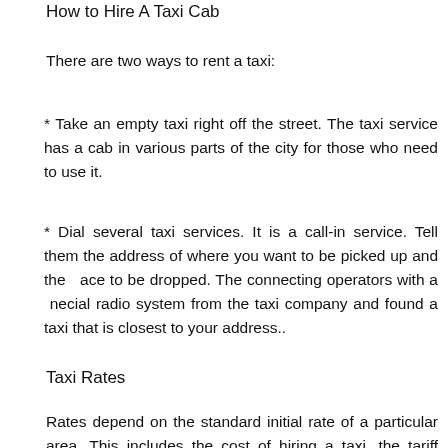How to Hire A Taxi Cab
There are two ways to rent a taxi:
* Take an empty taxi right off the street. The taxi service has a cab in various parts of the city for those who need to use it.
* Dial several taxi services. It is a call-in service. Tell them the address of where you want to be picked up and the ace to be dropped. The connecting operators with a necial radio system from the taxi company and found a taxi that is closest to your address..
Taxi Rates
Rates depend on the standard initial rate of a particular area. This includes the cost of hiring a taxi, the tariff rates,